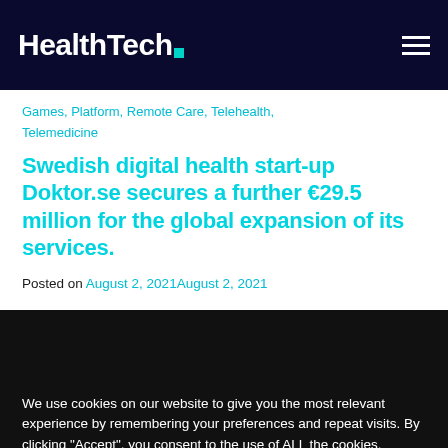HealthTech
Games, Platform, Remote Care, Telehealth, Telemedicine
Swedish digital health start-up Doktor.se secures a further €29.5 million for the global expansion of its services.
Posted on August 2, 2021August 2, 2021
We use cookies on our website to give you the most relevant experience by remembering your preferences and repeat visits. By clicking "Accept", you consent to the use of ALL the cookies.